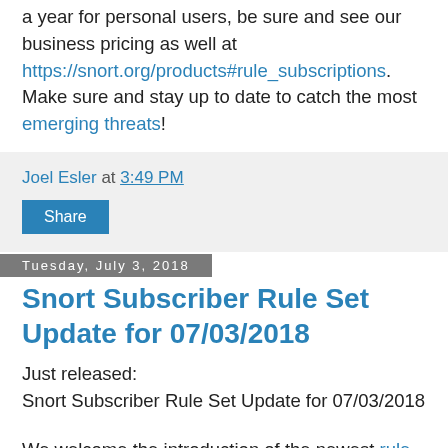a year for personal users, be sure and see our business pricing as well at https://snort.org/products#rule_subscriptions. Make sure and stay up to date to catch the most emerging threats!
Joel Esler at 3:49 PM
Share
Tuesday, July 3, 2018
Snort Subscriber Rule Set Update for 07/03/2018
Just released:
Snort Subscriber Rule Set Update for 07/03/2018
We welcome the introduction of the newest rule release from Talos. In this release we introduced 22 new rules of which 2 are Shared Object rules and made modifications to 4